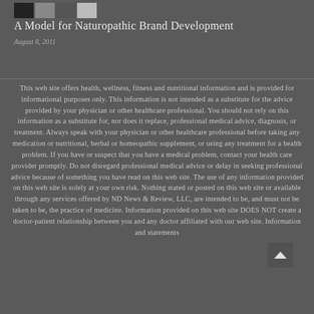[Figure (logo): Logo blocks - black and gray squares arranged in a row]
A Model for Naturopathic Brand Development
August 8, 2011
This web site offers health, wellness, fitness and nutritional information and is provided for informational purposes only. This information is not intended as a substitute for the advice provided by your physician or other healthcare professional. You should not rely on this information as a substitute for, nor does it replace, professional medical advice, diagnosis, or treatment. Always speak with your physician or other healthcare professional before taking any medication or nutritional, herbal or homeopathic supplement, or using any treatment for a health problem. If you have or suspect that you have a medical problem, contact your health care provider promptly. Do not disregard professional medical advice or delay in seeking professional advice because of something you have read on this web site. The use of any information provided on this web site is solely at your own risk. Nothing stated or posted on this web site or available through any services offered by ND News & Review, LLC, are intended to be, and must not be taken to be, the practice of medicine. Information provided on this web site DOES NOT create a doctor-patient relationship between you and any doctor affiliated with our web site. Information and statements